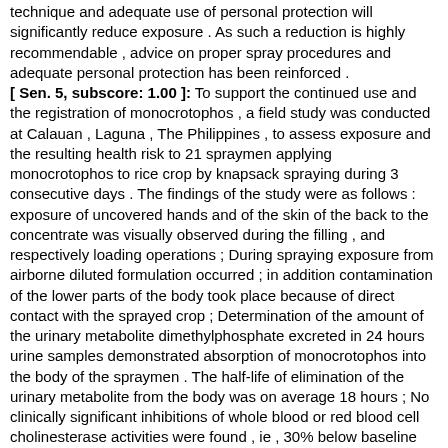technique and adequate use of personal protection will significantly reduce exposure . As such a reduction is highly recommendable , advice on proper spray procedures and adequate personal protection has been reinforced . [ Sen. 5, subscore: 1.00 ]: To support the continued use and the registration of monocrotophos , a field study was conducted at Calauan , Laguna , The Philippines , to assess exposure and the resulting health risk to 21 spraymen applying monocrotophos to rice crop by knapsack spraying during 3 consecutive days . The findings of the study were as follows : exposure of uncovered hands and of the skin of the back to the concentrate was visually observed during the filling , and respectively loading operations ; During spraying exposure from airborne diluted formulation occurred ; in addition contamination of the lower parts of the body took place because of direct contact with the sprayed crop ; Determination of the amount of the urinary metabolite dimethylphosphate excreted in 24 hours urine samples demonstrated absorption of monocrotophos into the body of the spraymen . The half-life of elimination of the urinary metabolite from the body was on average 18 hours ; No clinically significant inhibitions of whole blood or red blood cell cholinesterase activities were found , ie , 30% below baseline values . However , 8 of 21 spraymen had plasma cholinesterase levels below 50% of baseline values ; --No acute adverse health effects associated with the application of monocrotophos were observed , which was in accordance with the absence of clinically significant cholinesterase depressions . The conclusion of the study was that the use of monocrotophos under prevailing typical conditions in the Philippines , which varies from a frequency of one application per season to a maximum of 3 applications each on 3 consecutive days per week , and where label safety instructions are not necessarily observed , is not expected to pose an acute health risk under the prevailing conditions and practices , which includes filling